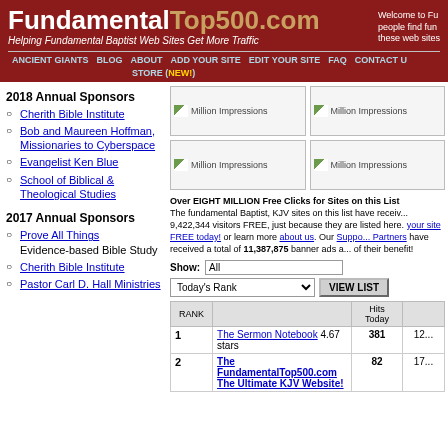FundamentalTop500.com — Helping Fundamental Baptist Web Sites Get More Traffic
Welcome to Fu... people find fun... these web sites...
ANCIENT GIANTS | BLOG | ABOUT | ADD YOUR SITE | EDIT YOUR SITE | FAQ | CONTACT U... | STORE (NEW!)
2018 Annual Sponsors
Cherith Bible Institute
Bob and Maureen Hoffman, Missionaries to Cyberspace
Evangelist Ken Blue
School of Biblical & Theological Studies
2017 Annual Sponsors
Prove All Things — Evidence-based Bible Study
Cherith Bible Institute
Pastor Carl D. Hall Ministries
[Figure (screenshot): Four 'Million Impressions' banner ad placeholders in a 2x2 grid]
Over EIGHT MILLION Free Clicks for Sites on this List. The fundamental Baptist, KJV sites on this list have received 9,422,344 visitors FREE, just because they are listed here. Add your site FREE today! or learn more about us. Our Supporting Partners have received a total of 11,387,875 banner ads at no cost, for their benefit!
| RANK |  | Hits Today |  |
| --- | --- | --- | --- |
| 1 | The Sermon Notebook 4.67 stars | 381 | 12... |
| 2 | The FundamentalTop500.com The Ultimate KJV Website! | 82 | 17... |